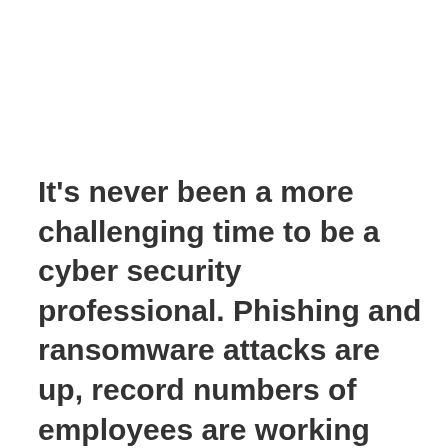It's never been a more challenging time to be a cyber security professional. Phishing and ransomware attacks are up, record numbers of employees are working from home and CISOs are stressed to the max. On the flip side, companies recognize and value the critical role cyber security plays in protecting an